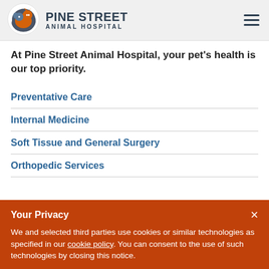[Figure (logo): Pine Street Animal Hospital logo — circular icon with dog and cat silhouettes and a hand, next to bold text 'PINE STREET ANIMAL HOSPITAL']
At Pine Street Animal Hospital, your pet's health is our top priority.
Preventative Care
Internal Medicine
Soft Tissue and General Surgery
Orthopedic Services
Your Privacy
We and selected third parties use cookies or similar technologies as specified in our cookie policy. You can consent to the use of such technologies by closing this notice.